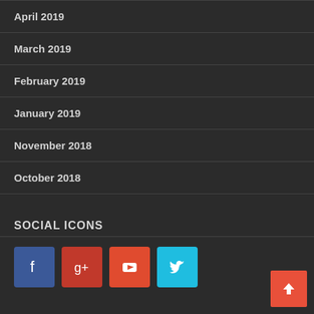April 2019
March 2019
February 2019
January 2019
November 2018
October 2018
SOCIAL ICONS
[Figure (infographic): Social media icons: Facebook (blue), Google+ (red), YouTube (orange-red), Twitter (light blue)]
RECENT POSTS